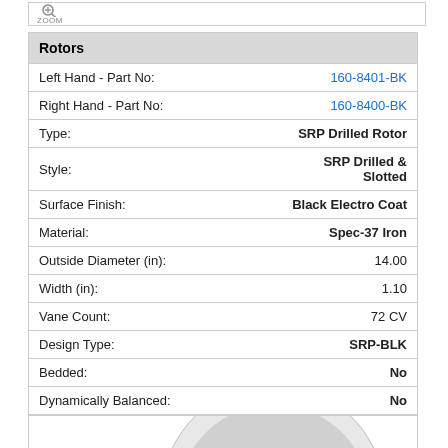[Figure (illustration): Zoom icon bar at top of product page]
| Rotors |  |
| --- | --- |
| Left Hand - Part No: | 160-8401-BK |
| Right Hand - Part No: | 160-8400-BK |
| Type: | SRP Drilled Rotor |
| Style: | SRP Drilled & Slotted |
| Surface Finish: | Black Electro Coat |
| Material: | Spec-37 Iron |
| Outside Diameter (in): | 14.00 |
| Width (in): | 1.10 |
| Vane Count: | 72 CV |
| Design Type: | SRP-BLK |
| Bedded: | No |
| Dynamically Balanced: | No |
[Figure (photo): Brake rotor photo showing SRP drilled and slotted design with black coating, partial view at bottom of page]